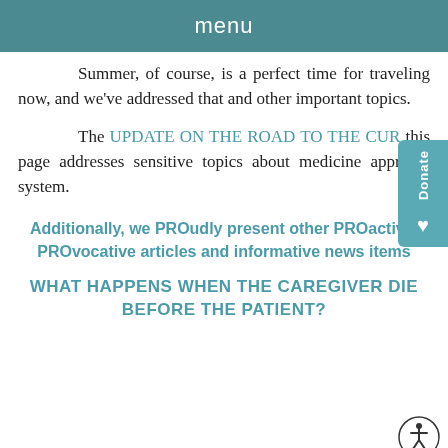menu
Summer, of course, is a perfect time for traveling now, and we've addressed that and other important topics.
The UPDATE ON THE ROAD TO THE CUR[E] this page addresses sensitive topics about medicine approval system.
Additionally, we PROudly present other PROactive, PROvocative articles and informative news items
WHAT HAPPENS WHEN THE CAREGIVER DIE[S] BEFORE THE PATIENT?